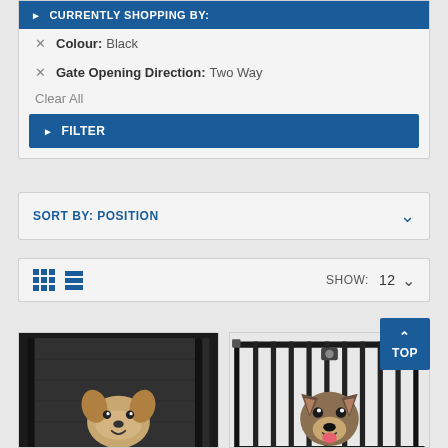CURRENTLY SHOPPING BY:
Colour: Black
Gate Opening Direction: Two Way
Clear All
FILTER
SORT BY: POSITION
[Figure (screenshot): View toggle icons (grid and list) and SHOW: 12 dropdown]
[Figure (photo): Product image: black retractable dog gate with dog (pitbull) sitting behind it]
[Figure (photo): Product image: black metal bar dog gate with German Shepherd dog sitting behind it]